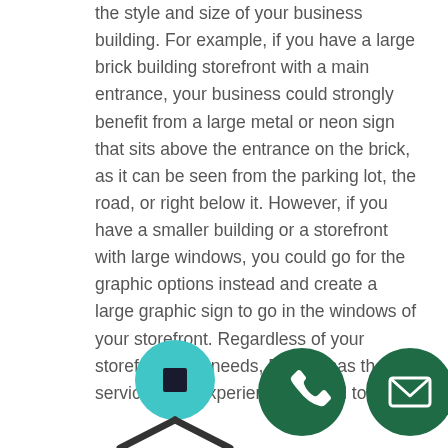the style and size of your business building. For example, if you have a large brick building storefront with a main entrance, your business could strongly benefit from a large metal or neon sign that sits above the entrance on the brick, as it can be seen from the parking lot, the road, or right below it. However, if you have a smaller building or a storefront with large windows, you could go for the graphic options instead and create a large graphic sign to go in the windows of your storefront. Regardless of your storefront sign needs, Priority has the services and experience needed to help.
[Figure (infographic): Bottom section showing a teal/cyan circle with a dark square icon connected by dark lines (possibly a network/map node graphic), and two dark green circular icon buttons — one with a phone icon and one with an envelope/email icon.]